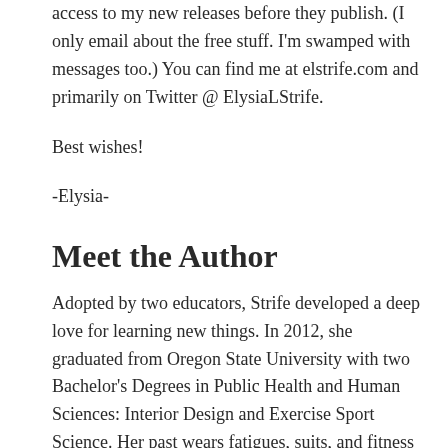access to my new releases before they publish. (I only email about the free stuff. I'm swamped with messages too.) You can find me at elstrife.com and primarily on Twitter @ ElysiaLStrife.
Best wishes!
-Elysia-
Meet the Author
Adopted by two educators, Strife developed a deep love for learning new things. In 2012, she graduated from Oregon State University with two Bachelor's Degrees in Public Health and Human Sciences: Interior Design and Exercise Sport Science. Her past wears fatigues, suits, and fitness gear, sprinkled with mascara and lace.